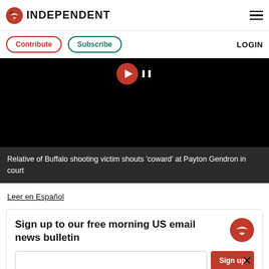INDEPENDENT
Contribute  Subscribe  LOGIN
[Figure (photo): Black video player area with a red play button icon centered at the top]
Relative of Buffalo shooting victim shouts 'coward' at Payton Gendron in court
Leer en Español
Sign up to our free morning US email news bulletin